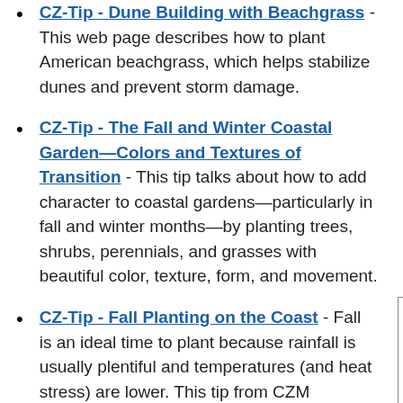CZ-Tip - Dune Building with Beachgrass - This web page describes how to plant American beachgrass, which helps stabilize dunes and prevent storm damage.
CZ-Tip - The Fall and Winter Coastal Garden—Colors and Textures of Transition - This tip talks about how to add character to coastal gardens—particularly in fall and winter months—by planting trees, shrubs, perennials, and grasses with beautiful color, texture, form, and movement.
CZ-Tip - Fall Planting on the Coast - Fall is an ideal time to plant because rainfall is usually plentiful and temperatures (and heat stress) are lower. This tip from CZM discusses what to plant and how to plant it for a thriving coastal landscape.